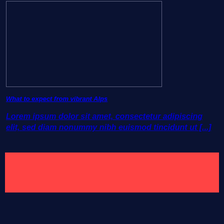[Figure (other): Dark navy rectangular image placeholder with thin light border]
What to expect from vibrant Alps
Lorem ipsum dolor sit amet, consectetur adipiscing elit, sed diam nonummy nibh euismod tincidunt ut [...]
[Figure (other): Red/coral colored banner bar with two dark horizontal lines]